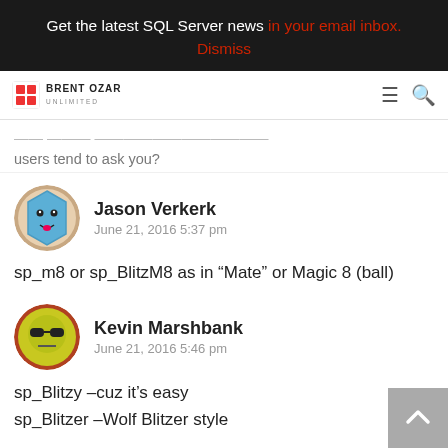Get the latest SQL Server news in your email inbox.
Dismiss
[Figure (logo): Brent Ozar Unlimited logo with navigation hamburger and search icons]
...How about sp_BlitzMe, below as the question users tend to ask you?
Jason Verkerk
June 21, 2016 5:37 pm
sp_m8 or sp_BlitzM8 as in “Mate” or Magic 8 (ball)
Kevin Marshbank
June 21, 2016 5:46 pm
sp_Blitzy –cuz it’s easy
sp_Blitzer –Wolf Blitzer style